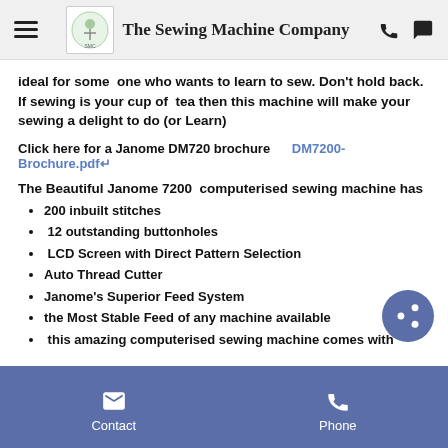The Sewing Machine Company
ideal for some one who wants to learn to sew. Don't hold back. If sewing is your cup of tea then this machine will make your sewing a delight to do (or Learn)
Click here for a Janome DM720 brochure    DM7200-Brochure.pdf
The Beautiful Janome 7200 computerised sewing machine has
200 inbuilt stitches
12 outstanding buttonholes
LCD Screen with Direct Pattern Selection
Auto Thread Cutter
Janome's Superior Feed System
the Most Stable Feed of any machine available
this amazing computerised sewing machine comes with
Contact   Phone